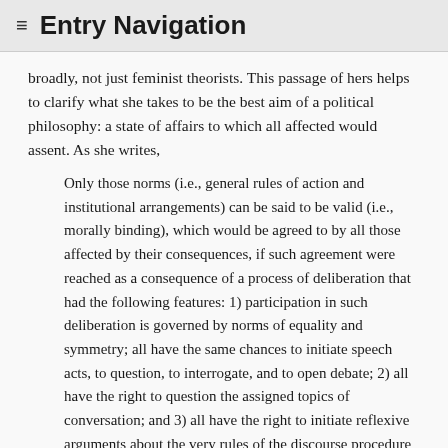≡ Entry Navigation
broadly, not just feminist theorists. This passage of hers helps to clarify what she takes to be the best aim of a political philosophy: a state of affairs to which all affected would assent. As she writes,
Only those norms (i.e., general rules of action and institutional arrangements) can be said to be valid (i.e., morally binding), which would be agreed to by all those affected by their consequences, if such agreement were reached as a consequence of a process of deliberation that had the following features: 1) participation in such deliberation is governed by norms of equality and symmetry; all have the same chances to initiate speech acts, to question, to interrogate, and to open debate; 2) all have the right to question the assigned topics of conversation; and 3) all have the right to initiate reflexive arguments about the very rules of the discourse procedure and the way in which they are applied or carried out. (Benhabib 1996, 70)